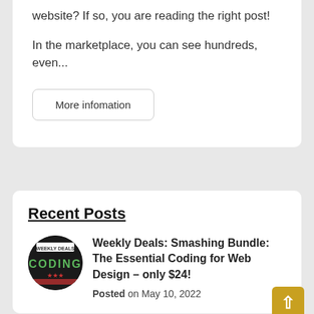website? If so, you are reading the right post!
In the marketplace, you can see hundreds, even...
More infomation
Recent Posts
[Figure (logo): Circular dark badge with CODING text in green and a banner at top]
Weekly Deals: Smashing Bundle: The Essential Coding for Web Design – only $24!
Posted on May 10, 2022